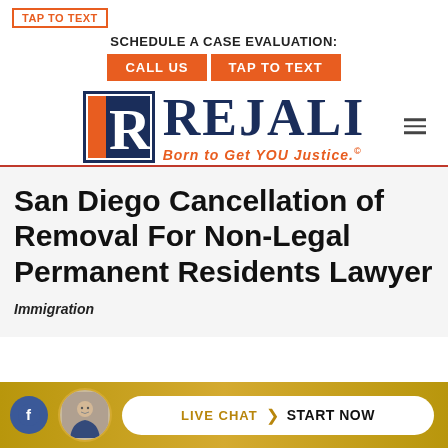TAP TO TEXT
SCHEDULE A CASE EVALUATION:
CALL US | TAP TO TEXT
[Figure (logo): Rejali Law logo with orange/navy R icon and text 'REJALI Born to Get YOU Justice.']
San Diego Cancellation of Removal For Non-Legal Permanent Residents Lawyer
Immigration
LIVE CHAT  START NOW